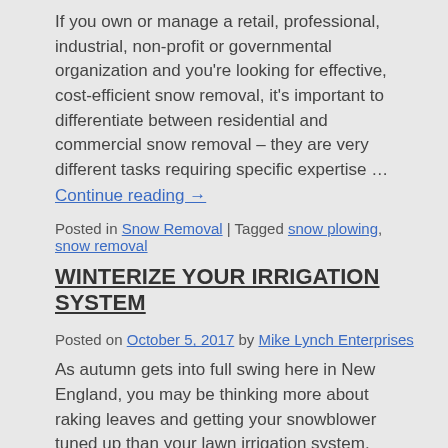If you own or manage a retail, professional, industrial, non-profit or governmental organization and you're looking for effective, cost-efficient snow removal, it's important to differentiate between residential and commercial snow removal – they are very different tasks requiring specific expertise …
Continue reading →
Posted in Snow Removal | Tagged snow plowing, snow removal
WINTERIZE YOUR IRRIGATION SYSTEM
Posted on October 5, 2017 by Mike Lynch Enterprises
As autumn gets into full swing here in New England, you may be thinking more about raking leaves and getting your snowblower tuned up than your lawn irrigation system. However, now's the time to schedule your in-ground sprinkler system for …
Continue reading →